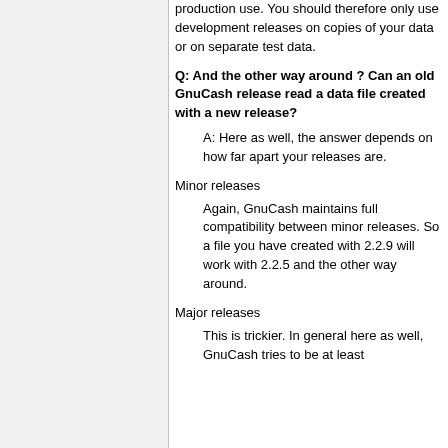production use. You should therefore only use development releases on copies of your data or on separate test data.
Q: And the other way around ? Can an old GnuCash release read a data file created with a new release?
A: Here as well, the answer depends on how far apart your releases are.
Minor releases
Again, GnuCash maintains full compatibility between minor releases. So a file you have created with 2.2.9 will work with 2.2.5 and the other way around.
Major releases
This is trickier. In general here as well, GnuCash tries to be at least